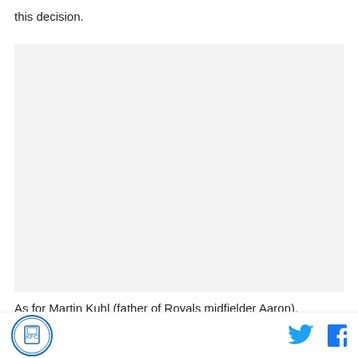this decision.
[Figure (photo): Large light gray placeholder image area]
As for Martin Kuhl (father of Royals midfielder Aaron),
Logo and social media icons (Twitter, Facebook)